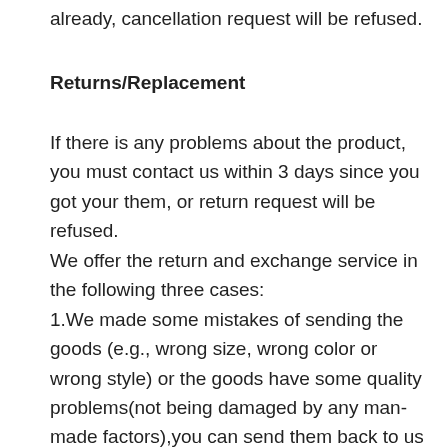already, cancellation request will be refused.
Returns/Replacement
If there is any problems about the product, you must contact us within 3 days since you got your them, or return request will be refused.
We offer the return and exchange service in the following three cases:
1.We made some mistakes of sending the goods (e.g., wrong size, wrong color or wrong style) or the goods have some quality problems(not being damaged by any man-made factors),you can send them back to us for no charge, As soon as we receive your return parcel. The product need to be delivered to our quality control department, if there is no problems, we will send you new product or give you refund.